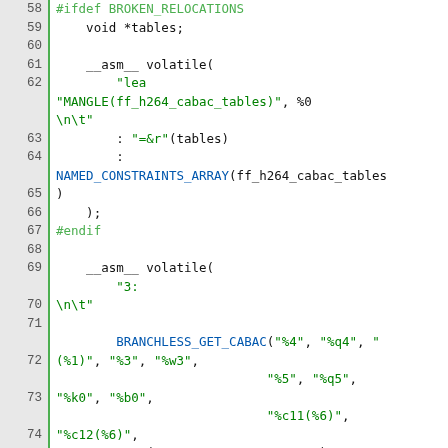[Figure (screenshot): Source code listing showing C/assembly code lines 58-80, with green line number gutter, preprocessor directives in green, keywords in blue, string literals in green/blue.]